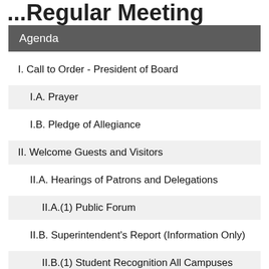...Regular Meeting
Agenda
I. Call to Order - President of Board
I.A. Prayer
I.B. Pledge of Allegiance
II. Welcome Guests and Visitors
II.A. Hearings of Patrons and Delegations
II.A.(1) Public Forum
II.B. Superintendent's Report (Information Only)
II.B.(1) Student Recognition All Campuses